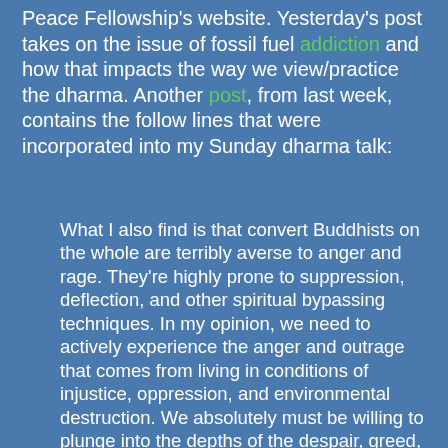Peace Fellowship's website. Yesterday's post takes on the issue of fossil fuel addiction and how that impacts the way we view/practice the dharma. Another post, from last week, contains the follow lines that were incorporated into my Sunday dharma talk:
What I also find is that convert Buddhists on the whole are terribly averse to anger and rage. They're highly prone to suppression, deflection, and other spiritual bypassing techniques. In my opinion, we need to actively experience the anger and outrage that comes from living in conditions of injustice, oppression, and environmental destruction. We absolutely must be willing to plunge into the depths of the despair, greed, hatred, and ultimately fears of various forms of annihilation that lay beneath the surface of that anger and outrage. We cannot simply toss around statements about love and expect to create a society built on love. Just as we actively work to dismantle forms of oppression and violence in the world, we also